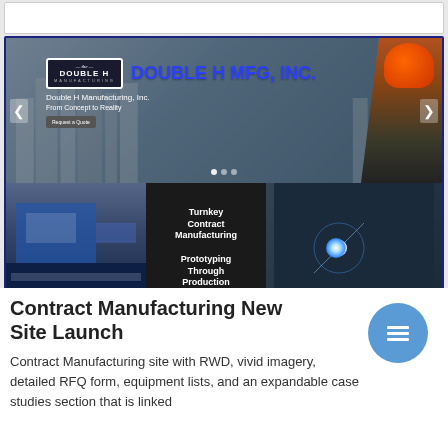[Figure (screenshot): Screenshot of Double H MFG, INC. website showing company banner with logo, city skyline background, worker in orange hard hat, services section with Turnkey Contract Manufacturing and Prototyping Through Production text, and four thumbnail images for Prototyping, Machining, Welding, and Tube Assembly]
Contract Manufacturing New Site Launch
Contract Manufacturing site with RWD, vivid imagery, detailed RFQ form, equipment lists, and an expandable case studies section that is linked